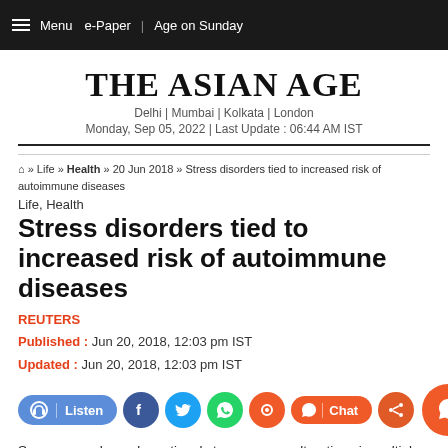Menu  e-Paper | Age on Sunday
The Asian Age
Delhi | Mumbai | Kolkata | London
Monday, Sep 05, 2022 | Last Update : 06:44 AM IST
Home » Life » Health » 20 Jun 2018 » Stress disorders tied to increased risk of autoimmune diseases
Life, Health
Stress disorders tied to increased risk of autoimmune diseases
REUTERS
Published : Jun 20, 2018, 12:03 pm IST
Updated : Jun 20, 2018, 12:03 pm IST
Severe or prolonged emotional stress causes alterations in multiple bodily functions through